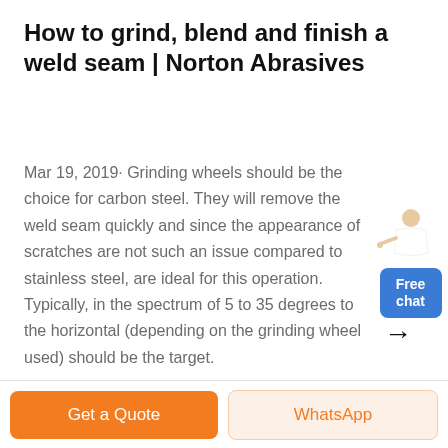How to grind, blend and finish a weld seam | Norton Abrasives
Mar 19, 2019· Grinding wheels should be the choice for carbon steel. They will remove the weld seam quickly and since the appearance of scratches are not such an issue compared to stainless steel, are ideal for this operation. Typically, in the spectrum of 5 to 35 degrees to the horizontal (depending on the grinding wheel used) should be the target.
[Figure (illustration): A customer service representative figure with a blue 'Free chat' button widget in the top-right area]
Get a Quote | WhatsApp